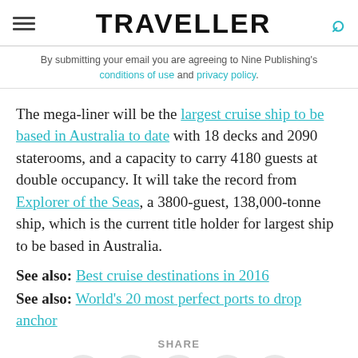TRAVELLER
By submitting your email you are agreeing to Nine Publishing's conditions of use and privacy policy.
The mega-liner will be the largest cruise ship to be based in Australia to date with 18 decks and 2090 staterooms, and a capacity to carry 4180 guests at double occupancy. It will take the record from Explorer of the Seas, a 3800-guest, 138,000-tonne ship, which is the current title holder for largest ship to be based in Australia.
See also: Best cruise destinations in 2016
See also: World's 20 most perfect ports to drop anchor
SHARE